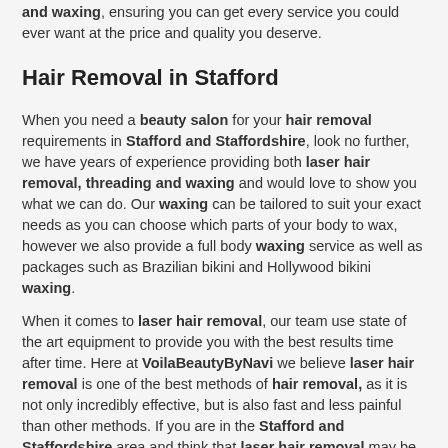and waxing, ensuring you can get every service you could ever want at the price and quality you deserve.
Hair Removal in Stafford
When you need a beauty salon for your hair removal requirements in Stafford and Staffordshire, look no further, we have years of experience providing both laser hair removal, threading and waxing and would love to show you what we can do. Our waxing can be tailored to suit your exact needs as you can choose which parts of your body to wax, however we also provide a full body waxing service as well as packages such as Brazilian bikini and Hollywood bikini waxing.
When it comes to laser hair removal, our team use state of the art equipment to provide you with the best results time after time. Here at VoilaBeautyByNavi we believe laser hair removal is one of the best methods of hair removal, as it is not only incredibly effective, but is also fast and less painful than other methods. If you are in the Stafford and Staffordshire area and think that laser hair removal may be the treatment you need...